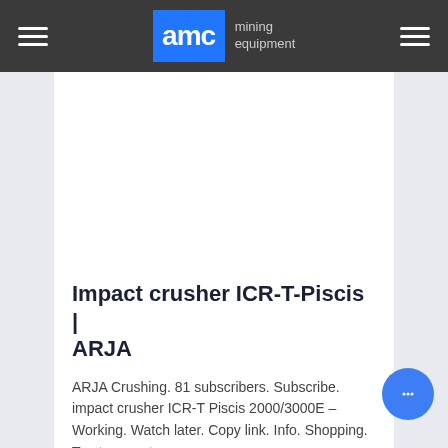AMC mining equipment
[Figure (screenshot): Blank white video player area embedded in the content card]
Impact crusher ICR-T-Piscis | ARJA
ARJA Crushing. 81 subscribers. Subscribe. impact crusher ICR-T Piscis 2000/3000E – Working. Watch later. Copy link. Info. Shopping. Tap to unmute.